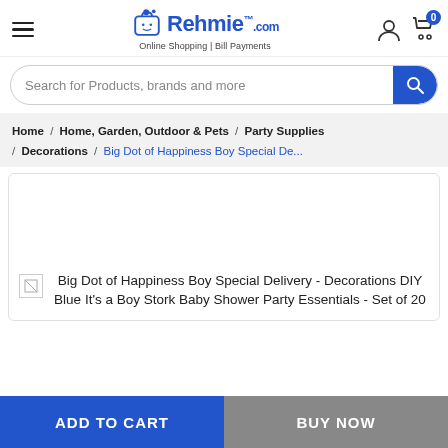[Figure (logo): Rehmie.com logo with shopping bag icon and dots, text 'Online Shopping | Bill Payments']
Search for Products, brands and more
Home / Home, Garden, Outdoor & Pets / Party Supplies / Decorations / Big Dot of Happiness Boy Special De...
[Figure (photo): Product image placeholder for Big Dot of Happiness Boy Special Delivery - Decorations DIY Blue It's a Boy Stork Baby Shower Party Essentials - Set of 20]
Big Dot of Happiness Boy Special Delivery - Decorations DIY Blue It's a Boy Stork Baby Shower Party Essentials - Set of 20
ADD TO CART
BUY NOW